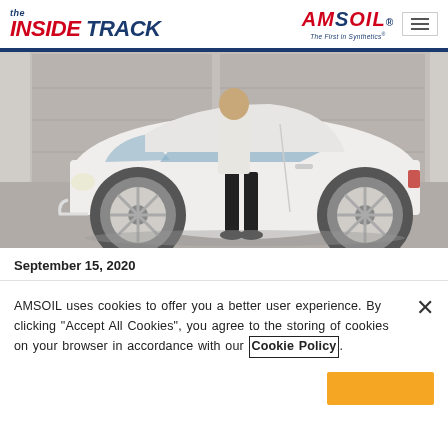the INSIDE TRACK | AMSOIL - The First in Synthetics
[Figure (photo): Person in white t-shirt and black shorts standing next to a white Volkswagen New Beetle in front of a garage]
September 15, 2020
AMSOIL uses cookies to offer you a better user experience. By clicking "Accept All Cookies", you agree to the storing of cookies on your browser in accordance with our Cookie Policy.